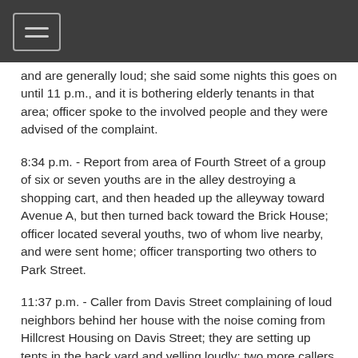and are generally loud; she said some nights this goes on until 11 p.m., and it is bothering elderly tenants in that area; officer spoke to the involved people and they were advised of the complaint.
8:34 p.m. - Report from area of Fourth Street of a group of six or seven youths are in the alley destroying a shopping cart, and then headed up the alleyway toward Avenue A, but then turned back toward the Brick House; officer located several youths, two of whom live nearby, and were sent home; officer transporting two others to Park Street.
11:37 p.m. - Caller from Davis Street complaining of loud neighbors behind her house with the noise coming from Hillcrest Housing on Davis Street; they are setting up tents in the back yard and yelling loudly; two more callers reported the same problem; officer advised all